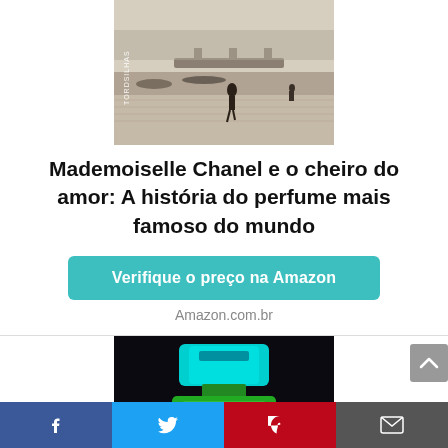[Figure (photo): Black and white photo of a woman walking along a Paris riverside street with a bridge in the background, text 'TORDSILHAS' visible on the left side]
Mademoiselle Chanel e o cheiro do amor: A história do perfume mais famoso do mundo
Verifique o preço na Amazon
Amazon.com.br
[Figure (photo): Dark background image of a colorful stylized perfume bottle with blue and green neon colors]
Facebook Twitter Pinterest Email social share bar